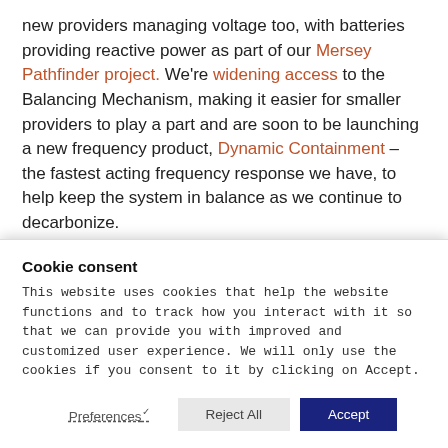new providers managing voltage too, with batteries providing reactive power as part of our Mersey Pathfinder project. We're widening access to the Balancing Mechanism, making it easier for smaller providers to play a part and are soon to be launching a new frequency product, Dynamic Containment – the fastest acting frequency response we have, to help keep the system in balance as we continue to decarbonize.
7) Lessons learned
It's been a challenging period but we're confident we
Cookie consent
This website uses cookies that help the website functions and to track how you interact with it so that we can provide you with improved and customized user experience. We will only use the cookies if you consent to it by clicking on Accept.